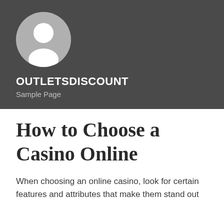[Figure (illustration): Generic user avatar circle with a white silhouette person icon on a light grey circular background, set against a dark grey header.]
OUTLETSDISCOUNT
Sample Page
How to Choose a Casino Online
When choosing an online casino, look for certain features and attributes that make them stand out